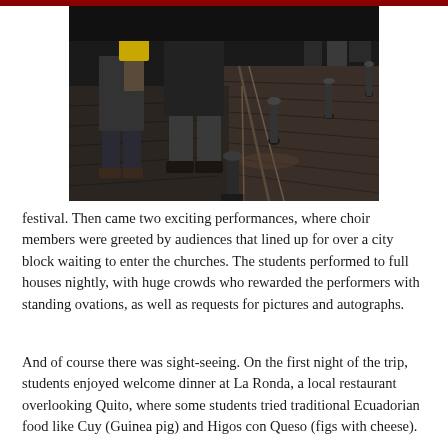[Figure (photo): Nighttime street scene showing people standing on a cobblestone or brick-paved street with metal bollards in a row. The perspective shows the street receding into the distance with tram tracks visible. People are dressed in dark clothing; one person in a yellow jacket visible in the background.]
festival. Then came two exciting performances, where choir members were greeted by audiences that lined up for over a city block waiting to enter the churches. The students performed to full houses nightly, with huge crowds who rewarded the performers with standing ovations, as well as requests for pictures and autographs.
And of course there was sight-seeing. On the first night of the trip, students enjoyed welcome dinner at La Ronda, a local restaurant overlooking Quito, where some students tried traditional Ecuadorian food like Cuy (Guinea pig) and Higos con Queso (figs with cheese).